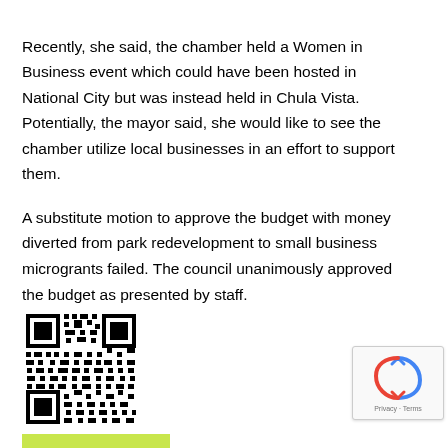Recently, she said, the chamber held a Women in Business event which could have been hosted in National City but was instead held in Chula Vista. Potentially, the mayor said, she would like to see the chamber utilize local businesses in an effort to support them.
A substitute motion to approve the budget with money diverted from park redevelopment to small business microgrants failed. The council unanimously approved the budget as presented by staff.
[Figure (other): QR code image]
[Figure (other): reCAPTCHA privacy badge with recycling-style logo and Privacy - Terms text]